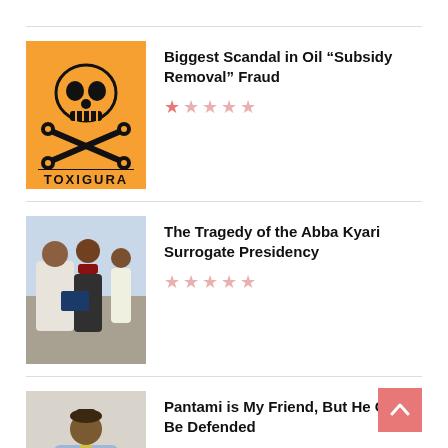[Figure (illustration): Orange TOXIGURA skull and crossbones warning label image]
Biggest Scandal in Oil “Subsidy Removal” Fraud
[Figure (photo): Two men in traditional Nigerian attire shaking hands or exchanging something, with a third person in background]
The Tragedy of the Abba Kyari Surrogate Presidency
[Figure (photo): Man in blue traditional Nigerian attire speaking at a podium with microphones]
Pantami is My Friend, But He Can’t Be Defended
[Figure (photo): Partial view of another article image at bottom of page]